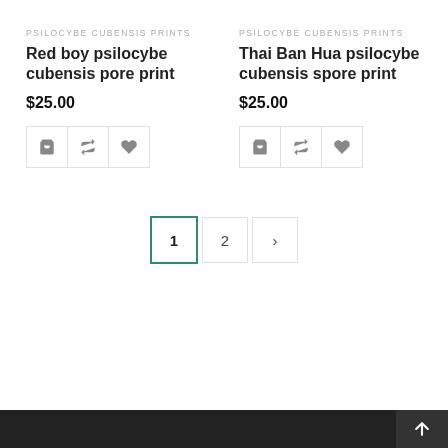PSILOCYBE CUBENSIS PRINTS
Red boy psilocybe cubensis pore print
$25.00
[Figure (other): Add to cart, compare, and wishlist action buttons for Red boy psilocybe cubensis pore print]
PSILOCYBE CUBENSIS PRINTS
Thai Ban Hua psilocybe cubensis spore print
$25.00
[Figure (other): Add to cart, compare, and wishlist action buttons for Thai Ban Hua psilocybe cubensis spore print]
Pagination: 1 (active), 2, next >